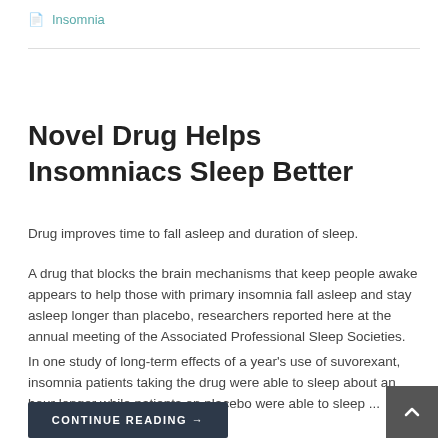Insomnia
Novel Drug Helps Insomniacs Sleep Better
Drug improves time to fall asleep and duration of sleep.
A drug that blocks the brain mechanisms that keep people awake appears to help those with primary insomnia fall asleep and stay asleep longer than placebo, researchers reported here at the annual meeting of the Associated Professional Sleep Societies.
In one study of long-term effects of a year's use of suvorexant, insomnia patients taking the drug were able to sleep about an hour longer while patients on placebo were able to sleep ...
CONTINUE READING →